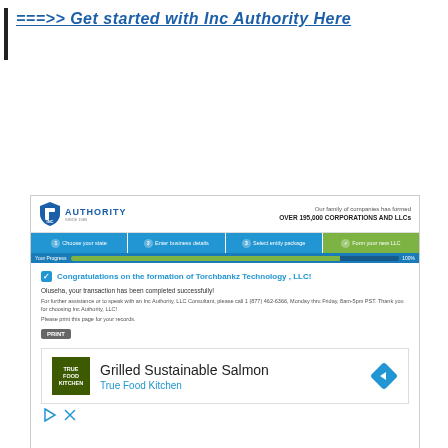===>> Get started with Inc Authority Here
[Figure (screenshot): Screenshot of Inc Authority LLC formation website showing: logo header with 'Our family of companies has formed OVER 195,000 CORPORATIONS AND LLCs', step navigation bar with steps 1-4 (Choose your state, Enter business details, Select entity package, Form your new LLC), progress bar labeled 'Your Progress', congratulations message 'Congratulations on the formation of Torchbankz Technology, LLC!', transaction completion text, help phone number text, Print button, and an advertisement for 'Grilled Sustainable Salmon - True Food Kitchen' with logo and navigation arrow.]